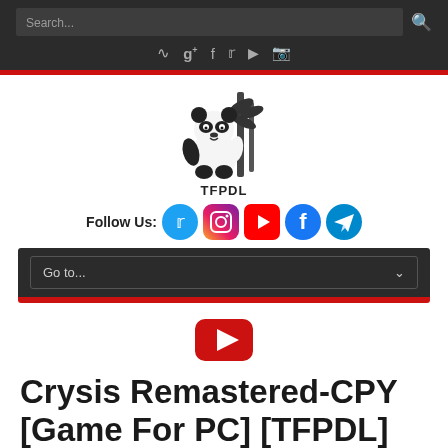Search... [search icon] [social icon links: RSS, G+, Facebook, Twitter, YouTube, Instagram]
[Figure (logo): TFPDL panda logo — black ink illustration of a panda bear sitting with bamboo, text TFPDL below]
Follow Us: [Twitter] [Instagram] [YouTube] [Facebook] [Telegram]
Go to...
[Figure (other): Red YouTube play button icon]
Crysis Remastered-CPY [Game For PC] [TFPDL]